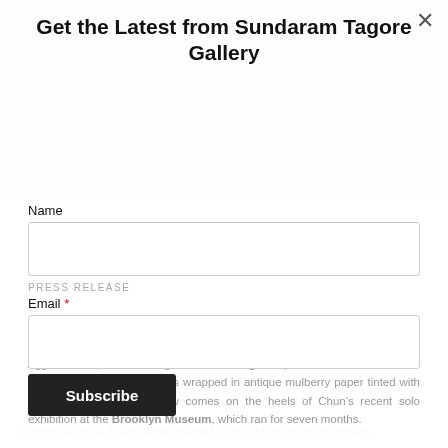[Figure (photo): Three gallery interior photos showing artworks on white walls, displayed as background images behind a modal overlay]
Get the Latest from Sundaram Tagore Gallery
Name
PRESS RELEASE
Email *
Subscribe
Sundaram Tagore Gallery is pleased to present a solo exhibition of work by Chun Kwang Young. The acclaimed Korean artist is best known for his Aggrenations, freestanding and wall-hung sculptural works made from thousands of triangular forms wrapped in antique mulberry paper tinted with teas or pigment. This show comes on the heels of Chun's recent solo exhibition at the Brooklyn Museum, which ran for seven months.